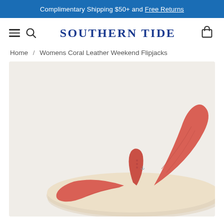Complimentary Shipping $50+ and Free Returns
SOUTHERN TIDE
Home / Womens Coral Leather Weekend Flipjacks
[Figure (photo): Product photo of Womens Coral Leather Weekend Flipjacks — a beige/cream flip flop sandal with coral/salmon colored leather straps, viewed from a three-quarter angle showing the top of the sandal against a light grey/off-white background.]